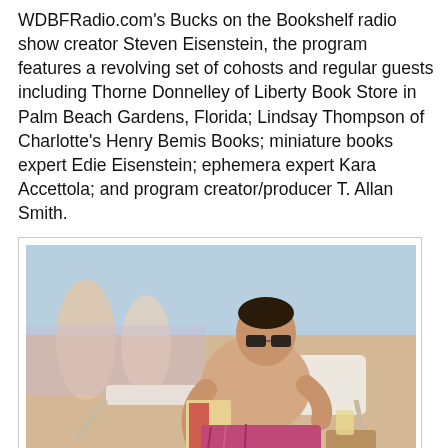WDBFRadio.com's Bucks on the Bookshelf radio show creator Steven Eisenstein, the program features a revolving set of cohosts and regular guests including Thorne Donnelley of Liberty Book Store in Palm Beach Gardens, Florida; Lindsay Thompson of Charlotte's Henry Bemis Books; miniature books expert Edie Eisenstein; ephemera expert Kara Accettola; and program creator/producer T. Allan Smith.
[Figure (photo): A shirtless man wearing sunglasses sits in a beach lounge chair reading a book, with a drink beside him. Other beachgoers are visible in the background.]